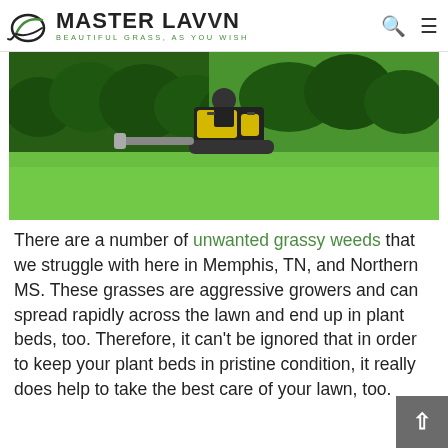MASTER LAWN — BEAUTIFUL GRASS, AS YOU WISH
[Figure (photo): A person operating a yellow ride-on lawn mower or aerator machine on a green lawn, with dense green hedges/shrubs in the background.]
There are a number of unwanted grassy weeds that we struggle with here in Memphis, TN, and Northern MS. These grasses are aggressive growers and can spread rapidly across the lawn and end up in plant beds, too. Therefore, it can't be ignored that in order to keep your plant beds in pristine condition, it really does help to take the best care of your lawn, too.